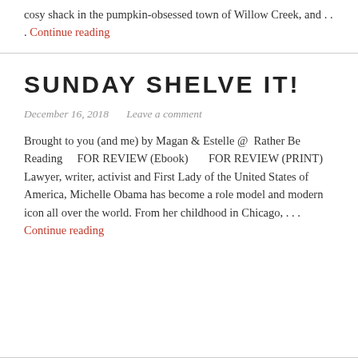cosy shack in the pumpkin-obsessed town of Willow Creek, and . . . Continue reading
SUNDAY SHELVE IT!
December 16, 2018   Leave a comment
Brought to you (and me) by Magan & Estelle @  Rather Be Reading    FOR REVIEW (Ebook)       FOR REVIEW (PRINT)  Lawyer, writer, activist and First Lady of the United States of America, Michelle Obama has become a role model and modern icon all over the world. From her childhood in Chicago, . . . Continue reading